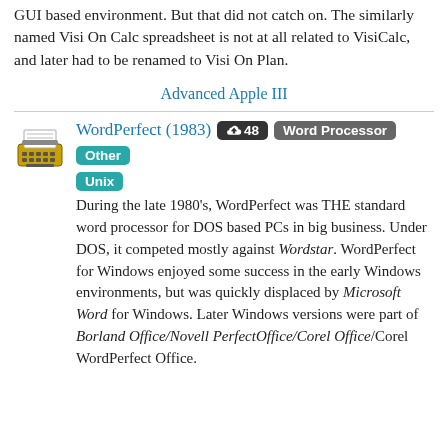GUI based environment. But that did not catch on. The similarly named Visi On Calc spreadsheet is not at all related to VisiCalc, and later had to be renamed to Visi On Plan.
Advanced Apple III
WordPerfect (1983)
During the late 1980's, WordPerfect was THE standard word processor for DOS based PCs in big business. Under DOS, it competed mostly against Wordstar. WordPerfect for Windows enjoyed some success in the early Windows environments, but was quickly displaced by Microsoft Word for Windows. Later Windows versions were part of Borland Office/Novell PerfectOffice/Corel Office/Corel WordPerfect Office.